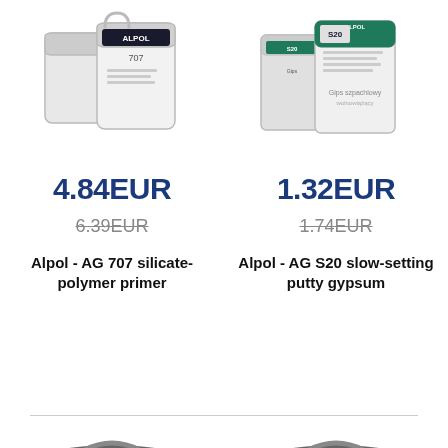[Figure (photo): Alpol AG 707 silicate-polymer primer product containers (white jugs)]
4.84EUR
6.39EUR
Alpol - AG 707 silicate-polymer primer
[Figure (photo): Alpol AG S20 slow-setting putty gypsum product bags]
1.32EUR
1.74EUR
Alpol - AG S20 slow-setting putty gypsum
[Figure (photo): Dark grey bucket labeled AH 740 Emulsja bitumiczna]
[Figure (photo): Dark grey bucket labeled AH 741 Masa bitumiczna]